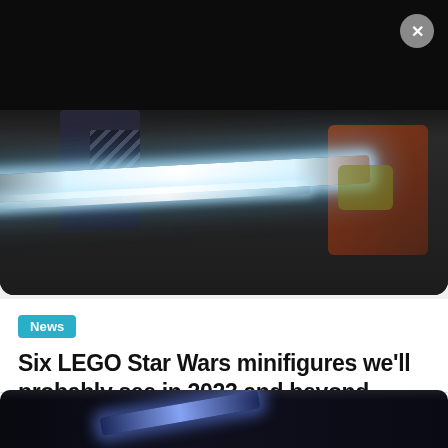[Figure (photo): Dark scene showing a figure holding dual white lightsabers, with a character in orange armor visible on the right. The upper portion is very dark/black and the lower portion shows lightsaber blades glowing white against a dim background.]
News
Six LEGO Star Wars minifigures we'll probably see in 2023 and beyond
19/05/2022  Chris Wharfe  4 min read
[Figure (photo): Partial bottom strip showing a dark scene with a blue lightsaber glow.]